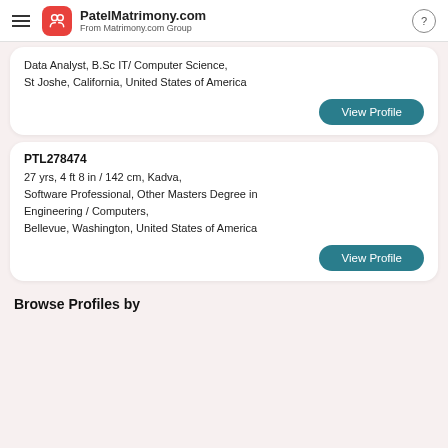PatelMatrimony.com From Matrimony.com Group
Data Analyst, B.Sc IT/ Computer Science, St Joshe, California, United States of America
View Profile
PTL278474
27 yrs, 4 ft 8 in / 142 cm, Kadva, Software Professional, Other Masters Degree in Engineering / Computers, Bellevue, Washington, United States of America
View Profile
Browse Profiles by